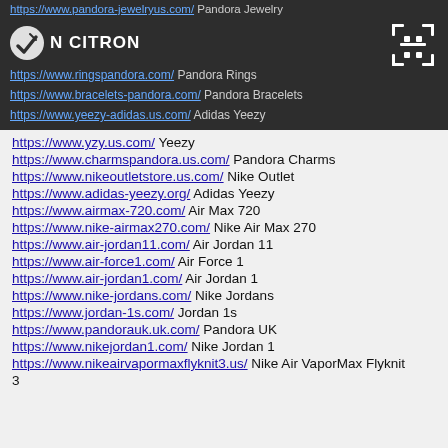https://www.pandora-jewelry.us.com/ Pandora Jewelry
[Figure (logo): N CITRON logo with arrow/check icon]
https://www.ringspandora.com/ Pandora Rings
https://www.bracelets-pandora.com/ Pandora Bracelets
https://www.yeezy-adidas.us.com/ Adidas Yeezy
https://www.yzy.us.com/ Yeezy
https://www.charmspandora.us.com/ Pandora Charms
https://www.nikeoutletstore.us.com/ Nike Outlet
https://www.adidas-yeezy.org/ Adidas Yeezy
https://www.airmax-720.com/ Air Max 720
https://www.nike-airmax270.com/ Nike Air Max 270
https://www.air-jordan11.com/ Air Jordan 11
https://www.air-force1.com/ Air Force 1
https://www.air-jordan1.com/ Air Jordan 1
https://www.nike-jordans.com/ Nike Jordans
https://www.jordan-1s.com/ Jordan 1s
https://www.pandorauk.uk.com/ Pandora UK
https://www.nikejordan1.com/ Nike Jordan 1
https://www.nikeairvapormaxflyknit3.us/ Nike Air VaporMax Flyknit 3